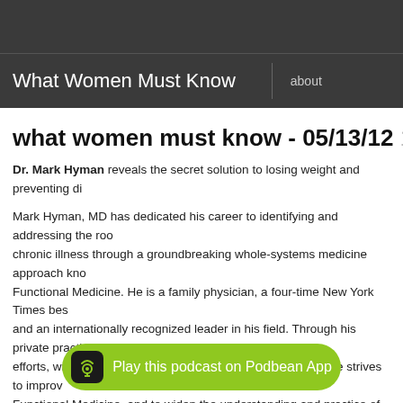What Women Must Know
what women must know - 05/13/12  13may1
Dr. Mark Hyman reveals the secret solution to losing weight and preventing di
Mark Hyman, MD has dedicated his career to identifying and addressing the roo chronic illness through a groundbreaking whole-systems medicine approach kno Functional Medicine. He is a family physician, a four-time New York Times bes and an internationally recognized leader in his field. Through his private practice efforts, writing, research, advocacy and public-policy work, he strives to improv Functional Medicine, and to widen the understanding and practice of it, empowe stop managing symptoms and instead treat the underlying causes of illness, ther tackling our chronic-disease epidemic.
Dr. Hyma... and was award Linus Pauling Award for Leadership in Functional Medicine. He is currently...
Play this podcast on Podbean App